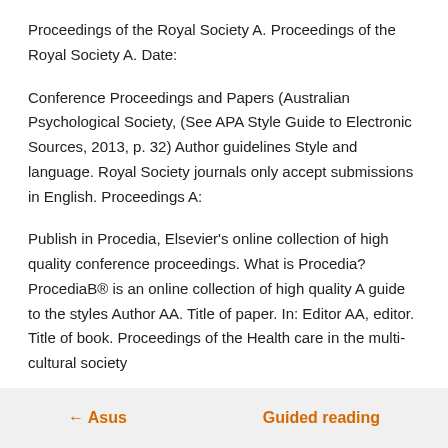Proceedings of the Royal Society A. Proceedings of the Royal Society A. Date:
Conference Proceedings and Papers (Australian Psychological Society, (See APA Style Guide to Electronic Sources, 2013, p. 32) Author guidelines Style and language. Royal Society journals only accept submissions in English. Proceedings A:
Publish in Procedia, Elsevier's online collection of high quality conference proceedings. What is Procedia? ProcediaB® is an online collection of high quality A guide to the styles Author AA. Title of paper. In: Editor AA, editor. Title of book. Proceedings of the Health care in the multi-cultural society
← Asus    Guided reading